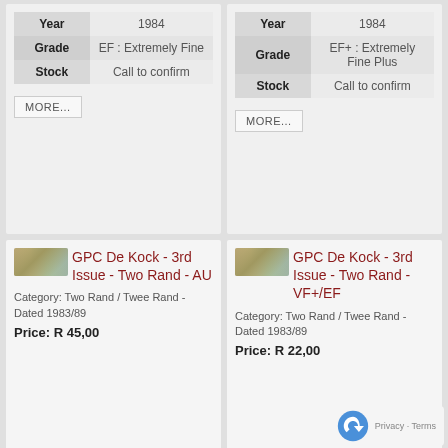| Field | Value |
| --- | --- |
| Year | 1984 |
| Grade | EF : Extremely Fine |
| Stock | Call to confirm |
| Field | Value |
| --- | --- |
| Year | 1984 |
| Grade | EF+ : Extremely Fine Plus |
| Stock | Call to confirm |
GPC De Kock - 3rd Issue - Two Rand - AU
Category: Two Rand / Twee Rand - Dated 1983/89
Price: R 45,00
GPC De Kock - 3rd Issue - Two Rand - VF+/EF
Category: Two Rand / Twee Rand - Dated 1983/89
Price: R 22,00